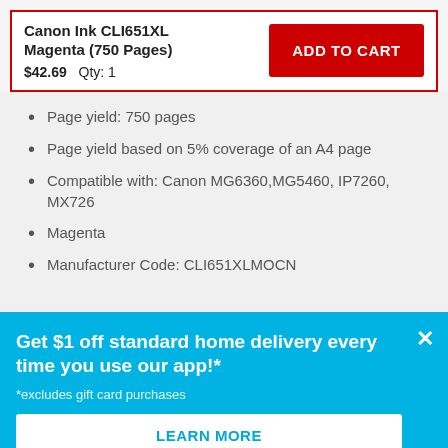Canon Ink CLI651XL Magenta (750 Pages)
$42.69   Qty: 1
ADD TO CART
Page yield: 750 pages
Page yield based on 5% coverage of an A4 page
Compatible with: Canon MG6360,MG5460, IP7260, MX726
Magenta
Manufacturer Code: CLI651XLMOCN
Get $1 off standard home delivery every time you use our app!*
*excludes gift card purchases
LEARN MORE